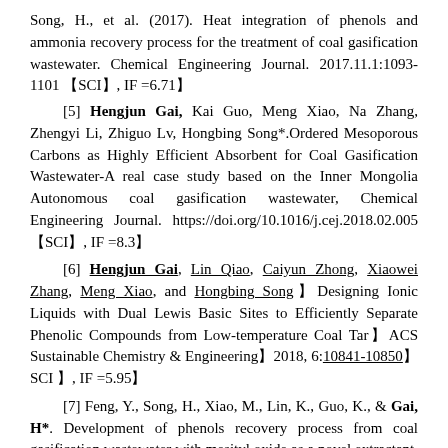Song, H., et al. (2017). Heat integration of phenols and ammonia recovery process for the treatment of coal gasification wastewater. Chemical Engineering Journal. 2017.11.1:1093-1101 【SCI】, IF =6.71】
[5] Hengjun Gai, Kai Guo, Meng Xiao, Na Zhang, Zhengyi Li, Zhiguo Lv, Hongbing Song*.Ordered Mesoporous Carbons as Highly Efficient Absorbent for Coal Gasification Wastewater-A real case study based on the Inner Mongolia Autonomous coal gasification wastewater, Chemical Engineering Journal. https://doi.org/10.1016/j.cej.2018.02.005【SCI】, IF =8.3】
[6] Hengjun Gai, Lin Qiao, Caiyun Zhong, Xiaowei Zhang, Meng Xiao, and Hongbing Song】Designing Ionic Liquids with Dual Lewis Basic Sites to Efficiently Separate Phenolic Compounds from Low-temperature Coal Tar】ACS Sustainable Chemistry & Engineering】2018, 6:10841-10850】SCI 】, IF =5.95】
[7] Feng, Y., Song, H., Xiao, M., Lin, K., Guo, K., & Gai, H*. Development of phenols recovery process from coal gasification wastewater with mesityl oxide as a novel extractant. Journal of Cleaner Production, 2017.11.10,166:1314-1322. 【SCI】】, 】】】】IF =5.7】
[8] Xiao, M., Man, H., and 】...